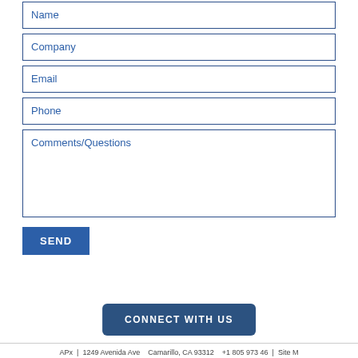Name
Company
Email
Phone
Comments/Questions
SEND
CONNECT WITH US
APx | 1249 Avenida Ave   Camarillo, CA 93312   +1 805 973 46  | Site M...